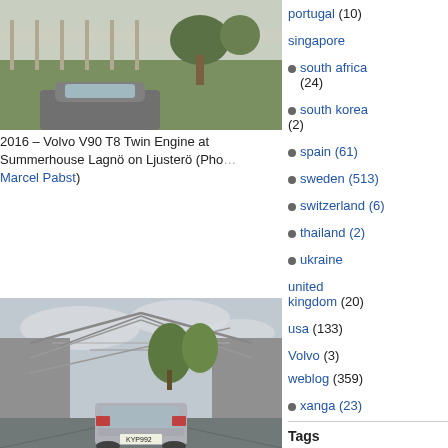[Figure (photo): Partial view of a Volvo V90 T8 Twin Engine at a summerhouse setting with green grass and trees, top portion cropped]
2016 – Volvo V90 T8 Twin Engine at Summerhouse Lagnö on Ljusterö (Photo: Marcel Pabst)
[Figure (photo): Volvo V90 driving through a modernist concrete structure with triangular glass roof canopy, trees in background, dramatic architectural photography]
portugal (10)
singapore
south africa (24)
south korea (2)
spain (61)
sweden (513)
switzerland (6)
thailand (2)
ukraine
united kingdom (20)
usa (133)
Volvo (3)
weblog (359)
xanga (23)
Tags
Amazon